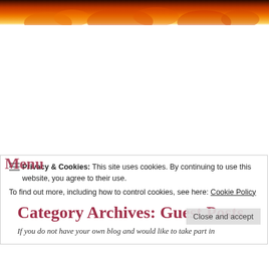[Figure (photo): Fire/flames header image in orange, red, and yellow tones at the top of the page]
Privacy & Cookies: This site uses cookies. By continuing to use this website, you agree to their use.
To find out more, including how to control cookies, see here: Cookie Policy
Category Archives: Guest Posts
If you do not have your own blog and would like to take part in